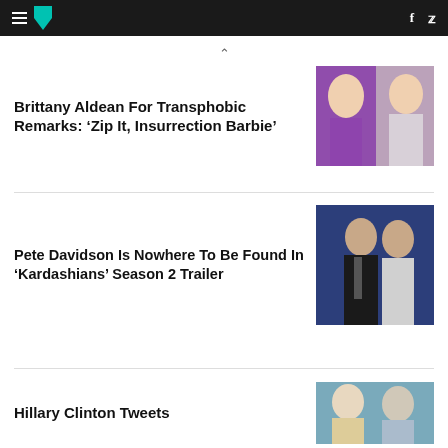HuffPost navigation bar with logo, hamburger menu, Facebook and Twitter icons
Brittany Aldean For Transphobic Remarks: ‘Zip It, Insurrection Barbie’
Pete Davidson Is Nowhere To Be Found In ‘Kardashians’ Season 2 Trailer
Hillary Clinton Tweets